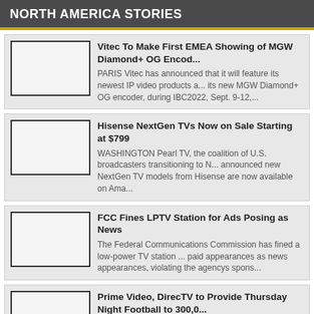NORTH AMERICA STORIES
Vitec To Make First EMEA Showing of MGW Diamond+ OG Encod... PARIS Vitec has announced that it will feature its newest IP video products a... its new MGW Diamond+ OG encoder, during IBC2022, Sept. 9-12,...
Hisense NextGen TVs Now on Sale Starting at $799 WASHINGTON Pearl TV, the coalition of U.S. broadcasters transitioning to N... announced new NextGen TV models from Hisense are now available on Ama...
FCC Fines LPTV Station for Ads Posing as News The Federal Communications Commission has fined a low-power TV station ... paid appearances as news appearances, violating the agencys spons...
Prime Video, DirecTV to Provide Thursday Night Football to 300,0... NEW YORK & EL SEGUNDO, Calif. Amazon and DirecTV have announced a... for DirecTV for Business to offer Prime Videos exclusive Thursday Night F...
ENCO to Highlight enCaption5 Next-Gen Automated Captioning a... NOVI, Mich. ENCO s demonstrations at the upcoming IBC2022 exhibition wil... European trade show debut of enCaption5, the fifth generation of...
Sencore to Launch Centra at IBC2022 SIOUX FALLS, S.D. Sencore has announced that it will be using IBC2022 to... their new Centra Gateway; a comprehensive and holistic network o...